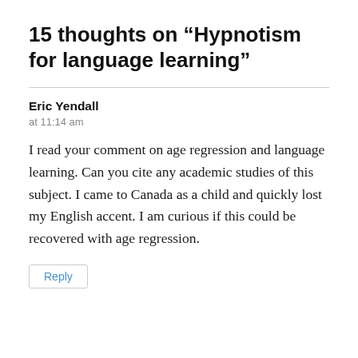15 thoughts on “Hypnotism for language learning”
Eric Yendall
at 11:14 am
I read your comment on age regression and language learning. Can you cite any academic studies of this subject. I came to Canada as a child and quickly lost my English accent. I am curious if this could be recovered with age regression.
Reply